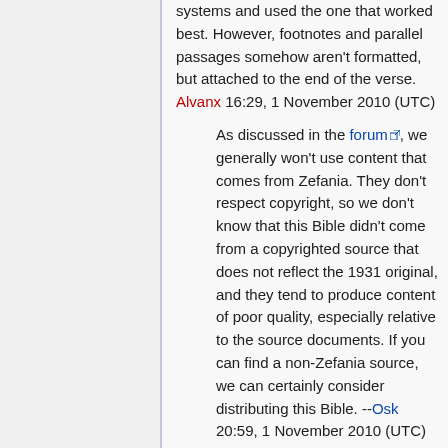systems and used the one that worked best. However, footnotes and parallel passages somehow aren't formatted, but attached to the end of the verse. Alvanx 16:29, 1 November 2010 (UTC)
As discussed in the forum, we generally won't use content that comes from Zefania. They don't respect copyright, so we don't know that this Bible didn't come from a copyrighted source that does not reflect the 1931 original, and they tend to produce content of poor quality, especially relative to the source documents. If you can find a non-Zefania source, we can certainly consider distributing this Bible. --Osk 20:59, 1 November 2010 (UTC)
Thank you, I remember that. But then I was just surprised to see a